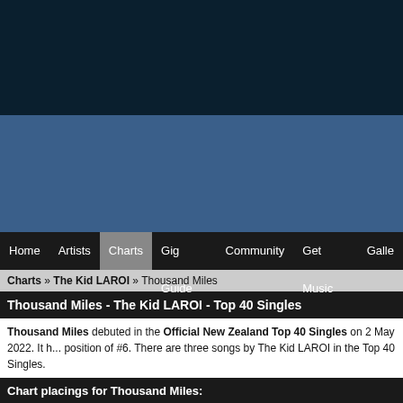[Figure (other): Dark navy blue header banner area]
[Figure (other): Steel blue banner/advertisement area]
Home | Artists | Charts | Gig Guide | Community | Get Music | Galle...
Charts » The Kid LAROI » Thousand Miles
Thousand Miles - The Kid LAROI - Top 40 Singles
Thousand Miles debuted in the Official New Zealand Top 40 Singles on 2 May 2022. It h... position of #6. There are three songs by The Kid LAROI in the Top 40 Singles.
Chart placings for Thousand Miles:
| Chart Date | Chart | Rank |
| --- | --- | --- |
| 02 May 2022 | Top 40 Singles | 6 |